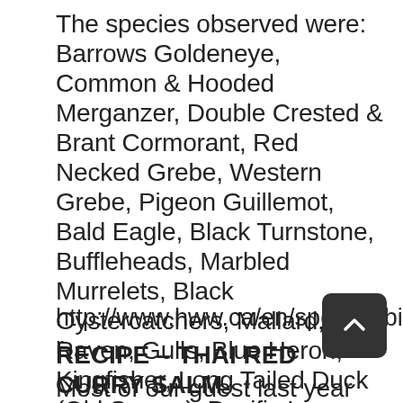The species observed were: Barrows Goldeneye, Common & Hooded Merganzer, Double Crested & Brant Cormorant, Red Necked Grebe, Western Grebe, Pigeon Guillemot, Bald Eagle, Black Turnstone, Buffleheads, Marbled Murrelets, Black Oystercatchers, Mallard, Raven, Gulls, Blue Heron, Kingfisher, Long Tailed Duck (Old Squaw), Pacific Loon, Surf Scoter, Stellar Jay, Crow, Harlequin Duck, Winter Wren and Common Grebe.
http://www.hww.ca/en/species/birds/shorebi...
RECIPE – THAI RED CURRY SALMON
Most of our guest last year brought home their limit of 8 salmon which no doubt made